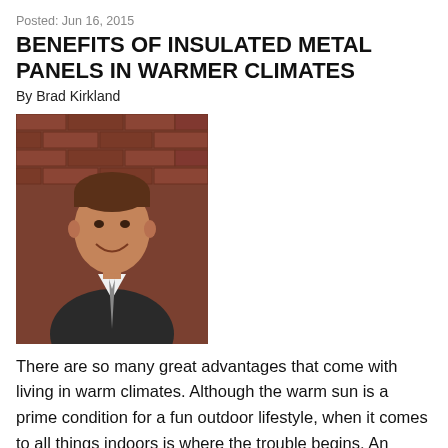Posted: Jun 16, 2015
BENEFITS OF INSULATED METAL PANELS IN WARMER CLIMATES
By Brad Kirkland
[Figure (photo): Headshot of Brad Kirkland, a man in a dark suit and tie, smiling, against a brick wall background]
There are so many great advantages that come with living in warm climates. Although the warm sun is a prime condition for a fun outdoor lifestyle, when it comes to all things indoors is where the trouble begins. An overbearing sun may be okay if you are laying out on a beach somewhere, but you don't want the same conditions beaming into your building. This is why it is important to fortify your building with insulated metal panels (IMPs). It's the best way to protect your building